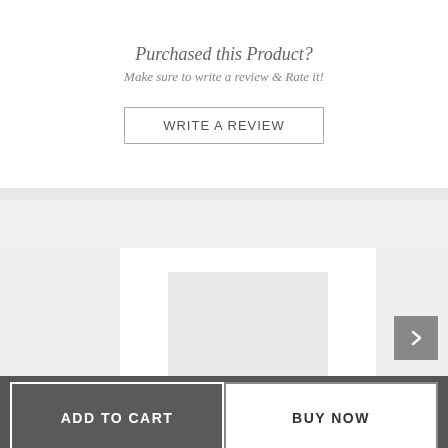Purchased this Product?
Make sure to write a review & Rate it!
WRITE A REVIEW
CUSTOMER ALSO VIEWED
[Figure (illustration): Product image placeholder - white rectangle on white card background with gray image placeholder area]
ADD TO CART
BUY NOW